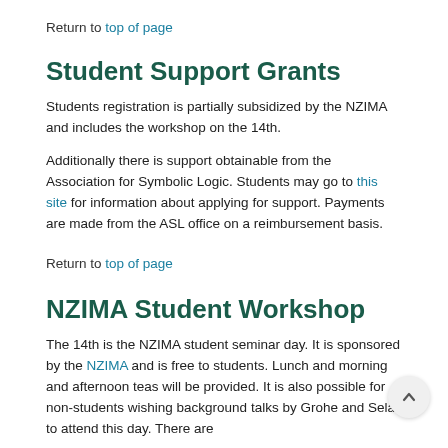Return to top of page
Student Support Grants
Students registration is partially subsidized by the NZIMA and includes the workshop on the 14th.
Additionally there is support obtainable from the Association for Symbolic Logic. Students may go to this site for information about applying for support. Payments are made from the ASL office on a reimbursement basis.
Return to top of page
NZIMA Student Workshop
The 14th is the NZIMA student seminar day. It is sponsored by the NZIMA and is free to students. Lunch and morning and afternoon teas will be provided. It is also possible for non-students wishing background talks by Grohe and Sela to attend this day. There are